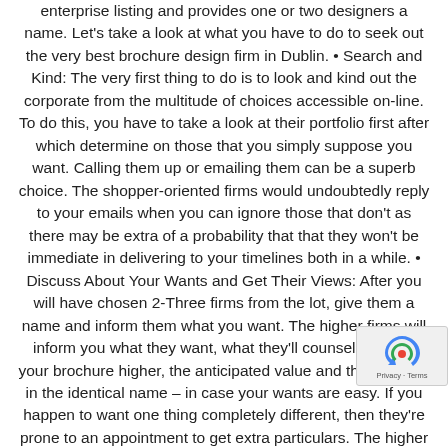enterprise listing and provides one or two designers a name. Let's take a look at what you have to do to seek out the very best brochure design firm in Dublin. • Search and Kind: The very first thing to do is to look and kind out the corporate from the multitude of choices accessible on-line. To do this, you have to take a look at their portfolio first after which determine on those that you simply suppose you want. Calling them up or emailing them can be a superb choice. The shopper-oriented firms would undoubtedly reply to your emails when you can ignore those that don't as there may be extra of a probability that that they won't be immediate in delivering to your timelines both in a while. • Discuss About Your Wants and Get Their Views: After you will have chosen 2-Three firms from the lot, give them a name and inform them what you want. The higher firms will inform you what they want, what they'll counsel to make your brochure higher, the anticipated value and the timeline, in the identical name – in case your wants are easy. If you happen to want one thing completely different, then they're prone to an appointment to get extra particulars. The higher brochure design firms in Dublin will share their ideas with you to make